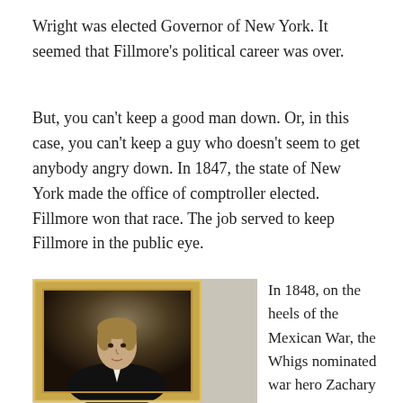Wright was elected Governor of New York. It seemed that Fillmore's political career was over.
But, you can't keep a good man down. Or, in this case, you can't keep a guy who doesn't seem to get anybody angry down. In 1847, the state of New York made the office of comptroller elected. Fillmore won that race. The job served to keep Fillmore in the public eye.
[Figure (photo): A framed portrait painting of a man in formal 19th-century attire with a dark jacket and white cravat, displayed on a wall. The portrait has a gold frame.]
In 1848, on the heels of the Mexican War, the Whigs nominated war hero Zachary